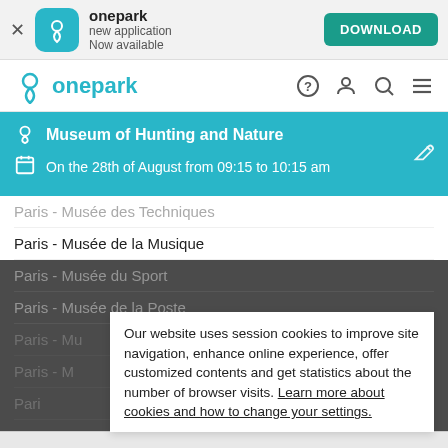[Figure (screenshot): App download banner for onepark new application with download button]
[Figure (screenshot): Onepark website navigation bar with logo and icons]
[Figure (screenshot): Booking info bar showing Museum of Hunting and Nature on 28th August 09:15 to 10:15 am]
Paris - Musée des Techniques
Paris - Musée de la Musique
Paris - Musée du Sport
Paris - Musée de la Poste
Our website uses session cookies to improve site navigation, enhance online experience, offer customized contents and get statistics about the number of browser visits. Learn more about cookies and how to change your settings.
[Figure (screenshot): Bottom navigation bar with Filters, OK, and Map buttons]